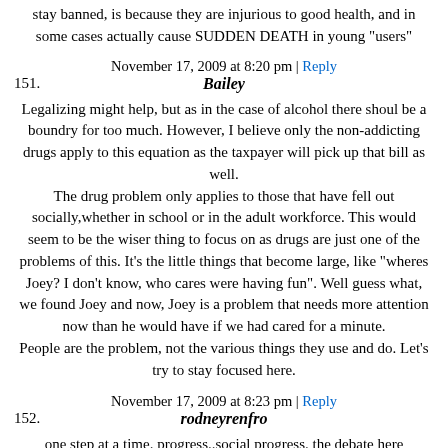stay banned, is because they are injurious to good health, and in some cases actually cause SUDDEN DEATH in young "users"
November 17, 2009 at 8:20 pm | Reply
151. Bailey
Legalizing might help, but as in the case of alcohol there shoul be a boundry for too much. However, I believe only the non-addicting drugs apply to this equation as the taxpayer will pick up that bill as well.
The drug problem only applies to those that have fell out socially,whether in school or in the adult workforce. This would seem to be the wiser thing to focus on as drugs are just one of the problems of this. It's the little things that become large, like "wheres Joey? I don't know, who cares were having fun". Well guess what, we found Joey and now, Joey is a problem that needs more attention now than he would have if we had cared for a minute.
People are the problem, not the various things they use and do. Let's try to stay focused here.
November 17, 2009 at 8:23 pm | Reply
152. rodneyrenfro
one step at a time. progress..social progress. the debate here